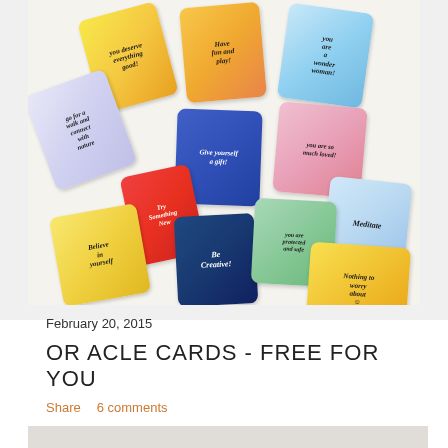[Figure (photo): A collection of colorful hand-illustrated oracle cards spread out on a white surface. The cards have watercolor backgrounds in yellow, blue, orange, pink, and green. Each card has a hand-drawn figure and handwritten text with affirmations: 'You deserve everything good!', 'Have fun and play!', 'You are a wonder woman!', 'Go for a walk and connect with nature', 'Give yourself a gift!', 'You are so much loved!', 'Try Something New', 'Meditate', 'Be Creative!', 'You are protected and safe', 'Believe in yourself', 'Nothing to worry about :)']
February 20, 2015
ORACLE CARDS - FREE FOR YOU
Share   6 comments